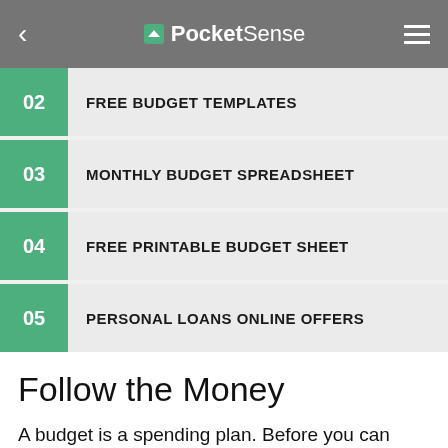PocketSense
02  FREE BUDGET TEMPLATES
03  MONTHLY BUDGET SPREADSHEET
04  FREE PRINTABLE BUDGET SHEET
05  PERSONAL LOANS ONLINE OFFERS
Follow the Money
A budget is a spending plan. Before you can make a plan, you need to know your current situation. People often think they know where their money goes. Instead, after